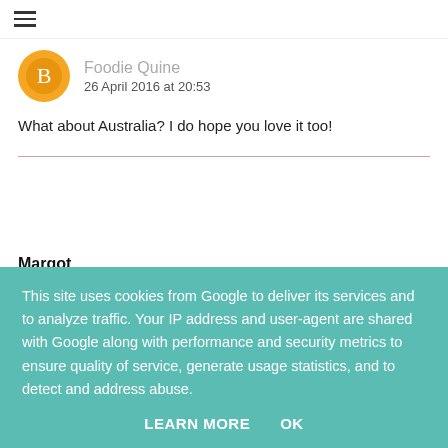Foodie Quine
26 April 2016 at 20:53

What about Australia? I do hope you love it too!
Margot
25 April 2016 at 09:41

Oh, those look amazing Claire!! Thank you for
This site uses cookies from Google to deliver its services and to analyze traffic. Your IP address and user-agent are shared with Google along with performance and security metrics to ensure quality of service, generate usage statistics, and to detect and address abuse.

LEARN MORE   OK